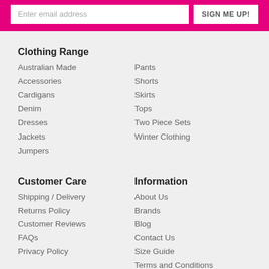[Figure (screenshot): Email signup banner with input field and SIGN ME UP! button on pink/magenta background]
Clothing Range
Australian Made
Accessories
Cardigans
Denim
Dresses
Jackets
Jumpers
Pants
Shorts
Skirts
Tops
Two Piece Sets
Winter Clothing
Customer Care
Shipping / Delivery
Returns Policy
Customer Reviews
FAQs
Privacy Policy
Information
About Us
Brands
Blog
Contact Us
Size Guide
Terms and Conditions